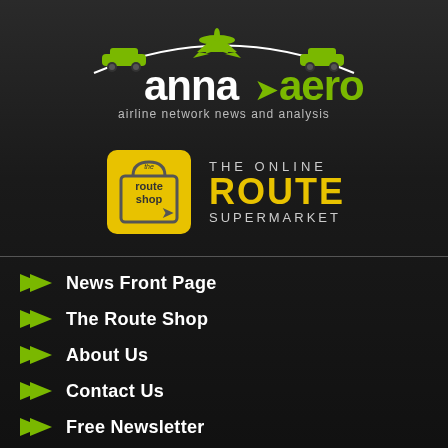[Figure (logo): anna.aero logo with airplane and cars silhouette, subtitle: airline network news and analysis]
[Figure (logo): The Route Shop - The Online Route Supermarket logo, yellow shopping bag icon with text]
News Front Page
The Route Shop
About Us
Contact Us
Free Newsletter
Privacy